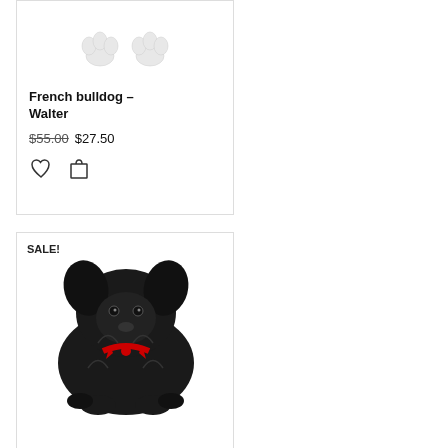[Figure (photo): White dog paws/feet visible at the bottom of the frame against white background]
French bulldog – Walter
$55.00 $27.50
[Figure (photo): Black fluffy dog stuffed animal/plush toy with red ribbon/bow, labeled SALE!]
SALE!